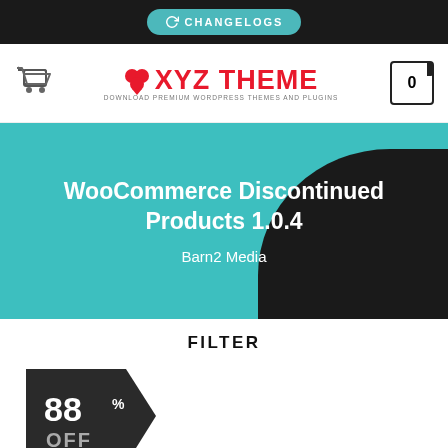CHANGELOGS
[Figure (logo): XYZ Theme logo with shopping cart icon on left and cart count box (0) on right. Red text logo with club/arrow icon. Subtitle: DOWNLOAD PREMIUM WORDPRESS THEMES AND PLUGINS]
WooCommerce Discontinued Products 1.0.4
Barn2 Media
FILTER
[Figure (infographic): Discount badge showing 88% OFF in a dark pentagon/arrow shape]